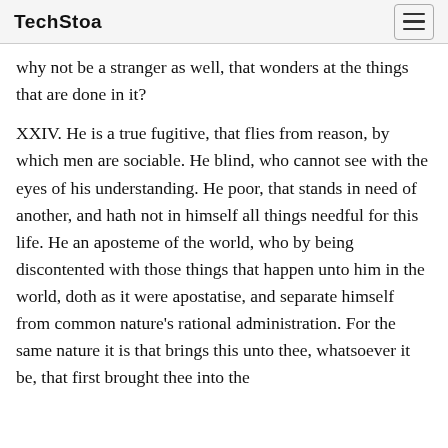TechStoa
why not be a stranger as well, that wonders at the things that are done in it?
XXIV. He is a true fugitive, that flies from reason, by which men are sociable. He blind, who cannot see with the eyes of his understanding. He poor, that stands in need of another, and hath not in himself all things needful for this life. He an aposteme of the world, who by being discontented with those things that happen unto him in the world, doth as it were apostatise, and separate himself from common nature's rational administration. For the same nature it is that brings this unto thee, whatsoever it be, that first brought thee into the